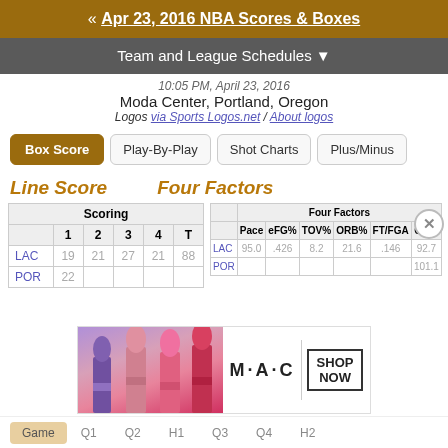« Apr 23, 2016 NBA Scores & Boxes
Team and League Schedules ▼
10:05 PM, April 23, 2016
Moda Center, Portland, Oregon
Logos via Sports Logos.net / About logos
Box Score
Play-By-Play
Shot Charts
Plus/Minus
Line Score
Four Factors
| ['Scoring', ''] | ['', '1', '2', '3', '4', 'T'] |
| --- | --- |
| LAC | 19 | 21 | 27 | 21 | 88 |
| POR | 22 |  |  |  |  |
| ['', 'Four Factors'] | ['', 'Pace', 'eFG%', 'TOV%', 'ORB%', 'FT/FGA', 'ORtg'] |
| --- | --- |
| LAC | 95.0 | .426 | 8.2 | 21.6 | .146 | 92.7 |
| POR |  |  |  |  |  | 101.1 |
[Figure (photo): MAC cosmetics advertisement showing lipsticks with SHOP NOW call to action]
Game   Q1   Q2   H1   Q3   Q4   H2